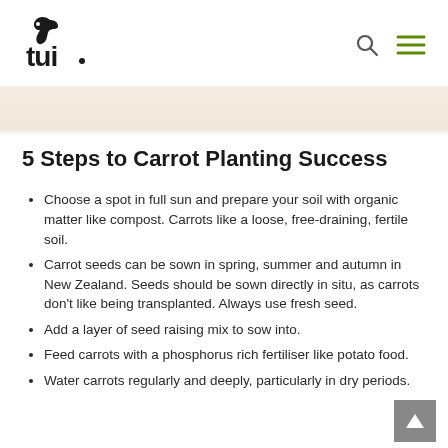tui [logo] [search icon] [menu icon]
5 Steps to Carrot Planting Success
Choose a spot in full sun and prepare your soil with organic matter like compost. Carrots like a loose, free-draining, fertile soil.
Carrot seeds can be sown in spring, summer and autumn in New Zealand. Seeds should be sown directly in situ, as carrots don't like being transplanted. Always use fresh seed.
Add a layer of seed raising mix to sow into.
Feed carrots with a phosphorus rich fertiliser like potato food.
Water carrots regularly and deeply, particularly in dry periods.